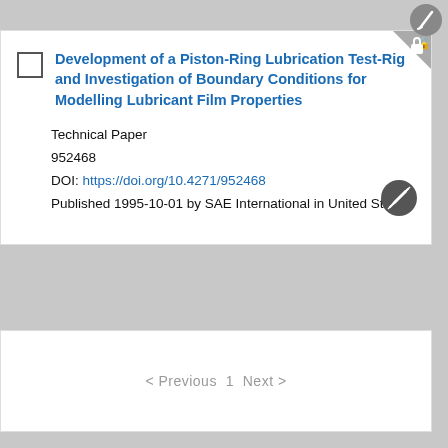Development of a Piston-Ring Lubrication Test-Rig and Investigation of Boundary Conditions for Modelling Lubricant Film Properties
Technical Paper
952468
DOI: https://doi.org/10.4271/952468
Published 1995-10-01 by SAE International in United States
< Previous  1  Next >